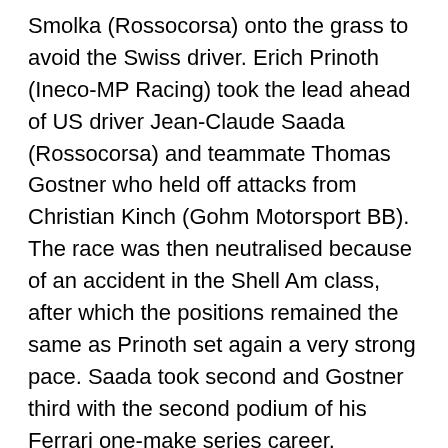Smolka (Rossocorsa) onto the grass to avoid the Swiss driver. Erich Prinoth (Ineco-MP Racing) took the lead ahead of US driver Jean-Claude Saada (Rossocorsa) and teammate Thomas Gostner who held off attacks from Christian Kinch (Gohm Motorsport BB). The race was then neutralised because of an accident in the Shell Am class, after which the positions remained the same as Prinoth set again a very strong pace. Saada took second and Gostner third with the second podium of his Ferrari one-make series career.
Shell Am. In the Coppa Shell Am, "Agy" Smolka lost her pole advantage after an accident at turn three. Sweden's Ingvar Mattson (Scuderia Autoropa) took the lead ahead of Giuseppe Ramelli (Rossocorsa-Pellin Racing) and Per Nielsen (Baron Motorsport). Murat Cuhadaroglu (Kessel Racing) made a great recovery after starting last due to